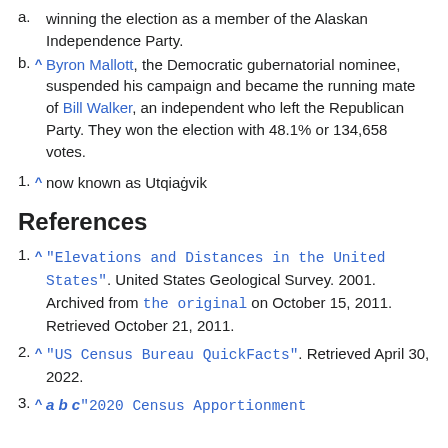a. ^ winning the election as a member of the Alaskan Independence Party.
b. ^ Byron Mallott, the Democratic gubernatorial nominee, suspended his campaign and became the running mate of Bill Walker, an independent who left the Republican Party. They won the election with 48.1% or 134,658 votes.
1. ^ now known as Utqiagvik
References
1. ^ "Elevations and Distances in the United States". United States Geological Survey. 2001. Archived from the original on October 15, 2011. Retrieved October 21, 2011.
2. ^ "US Census Bureau QuickFacts". Retrieved April 30, 2022.
3. ^ a b c "2020 Census Apportionment